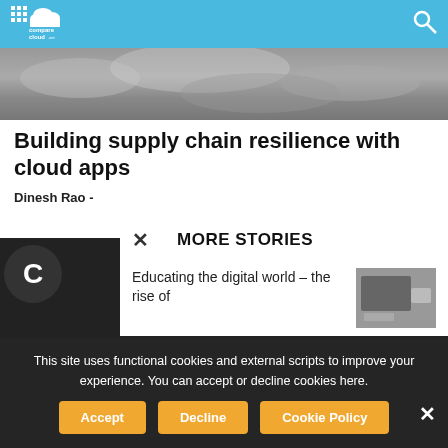comparecloud.net
[Figure (photo): Grayscale cloudy sky hero image banner]
Building supply chain resilience with cloud apps
Dinesh Rao -
[Figure (screenshot): More Stories popup with close button showing article: Educating the digital world - the rise of...]
This site uses functional cookies and external scripts to improve your experience. You can accept or decline cookies here.
Accept | Decline | Cookie Policy